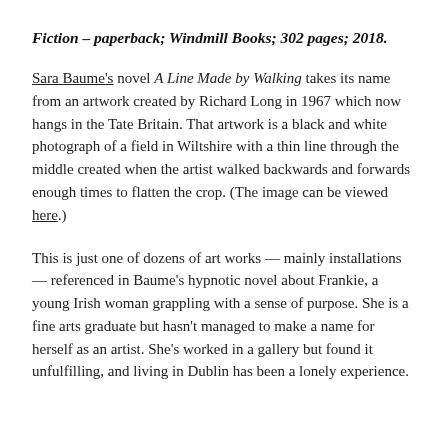Fiction – paperback; Windmill Books; 302 pages; 2018.
Sara Baume's novel A Line Made by Walking takes its name from an artwork created by Richard Long in 1967 which now hangs in the Tate Britain. That artwork is a black and white photograph of a field in Wiltshire with a thin line through the middle created when the artist walked backwards and forwards enough times to flatten the crop. (The image can be viewed here.)
This is just one of dozens of art works — mainly installations — referenced in Baume's hypnotic novel about Frankie, a young Irish woman grappling with a sense of purpose. She is a fine arts graduate but hasn't managed to make a name for herself as an artist. She's worked in a gallery but found it unfulfilling, and living in Dublin has been a lonely experience.